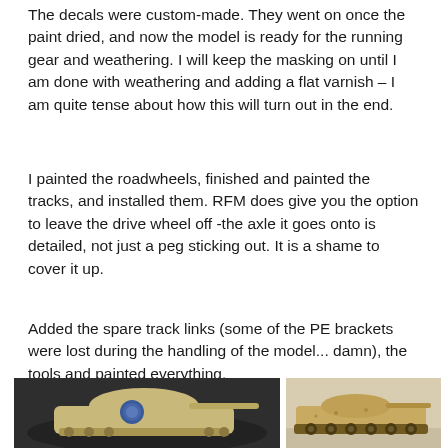The decals were custom-made. They went on once the paint dried, and now the model is ready for the running gear and weathering. I will keep the masking on until I am done with weathering and adding a flat varnish – I am quite tense about how this will turn out in the end.
I painted the roadwheels, finished and painted the tracks, and installed them. RFM does give you the option to leave the drive wheel off -the axle it goes onto is detailed, not just a peg sticking out. It is a shame to cover it up.
Added the spare track links (some of the PE brackets were lost during the handling of the model... damn), the tools and painted everything.
[Figure (photo): Close-up photo of a scale model tank (cream/sand colored) with a blue circular decal on the turret, dark background]
[Figure (photo): Side view photo of a scale model tank (sand/yellow colored) showing running gear and tracks, light background]